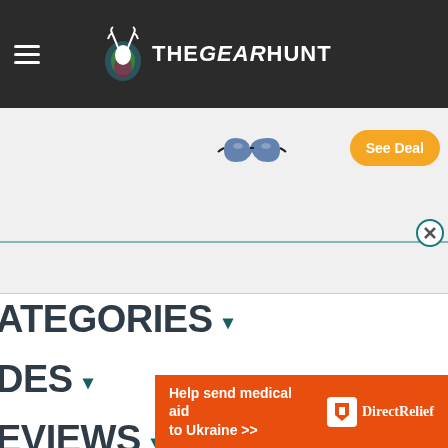THEGEARHUNT
[Figure (screenshot): Advertisement banner with sunglasses image and orange 'See Deal' button, with a teal close button]
ATEGORIES ▾
DES ▾
EVIEWS ▾
S ▾
[Figure (infographic): Orange banner ad: 'Help send medical aid to Ukraine >> Direct Relief logo']